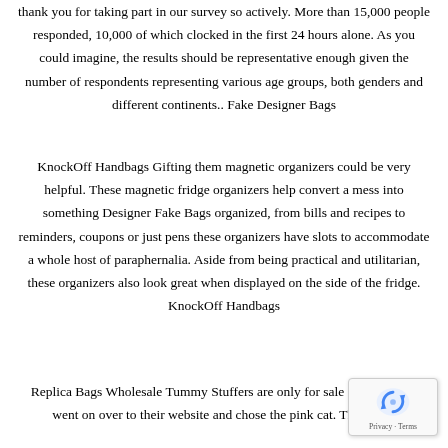thank you for taking part in our survey so actively. More than 15,000 people responded, 10,000 of which clocked in the first 24 hours alone. As you could imagine, the results should be representative enough given the number of respondents representing various age groups, both genders and different continents.. Fake Designer Bags
KnockOff Handbags Gifting them magnetic organizers could be very helpful. These magnetic fridge organizers help convert a mess into something Designer Fake Bags organized, from bills and recipes to reminders, coupons or just pens these organizers have slots to accommodate a whole host of paraphernalia. Aside from being practical and utilitarian, these organizers also look great when displayed on the side of the fridge. KnockOff Handbags
Replica Bags Wholesale Tummy Stuffers are only for sale onl now, so I went on over to their website and chose the pink cat. They have
[Figure (other): reCAPTCHA widget overlay in bottom right corner showing the reCAPTCHA icon (circular arrows logo) and 'Privacy - Terms' text]